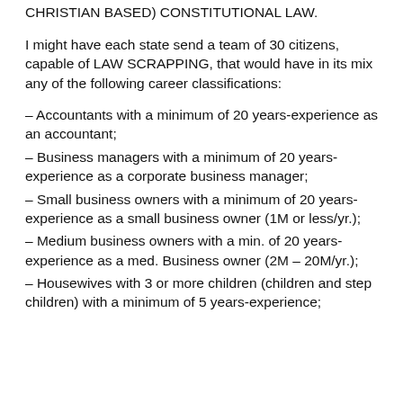CHRISTIAN BASED) CONSTITUTIONAL LAW.
I might have each state send a team of 30 citizens, capable of LAW SCRAPPING, that would have in its mix any of the following career classifications:
– Accountants with a minimum of 20 years-experience as an accountant;
– Business managers with a minimum of 20 years-experience as a corporate business manager;
– Small business owners with a minimum of 20 years-experience as a small business owner (1M or less/yr.);
– Medium business owners with a min. of 20 years-experience as a med. Business owner (2M – 20M/yr.);
– Housewives with 3 or more children (children and step children) with a minimum of 5 years-experience;